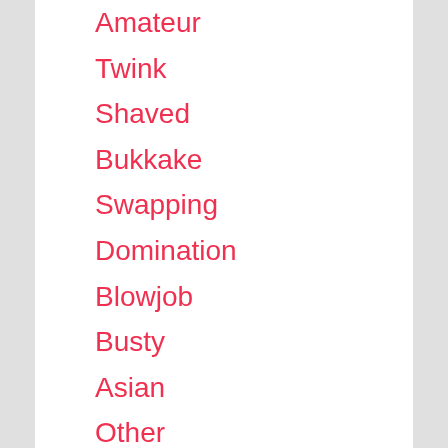Amateur
Twink
Shaved
Bukkake
Swapping
Domination
Blowjob
Busty
Asian
Other
Naked
Interracial
Deepthroat
Clitoris